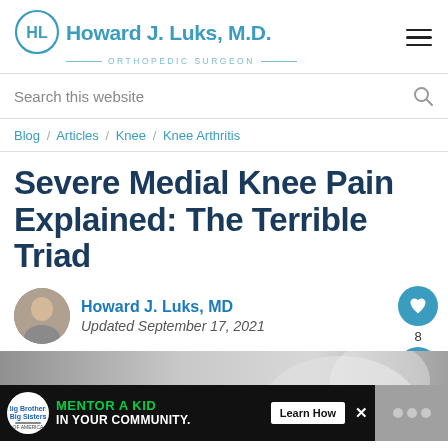Howard J. Luks, M.D. | Orthopedic Surgeon
Search this website
Blog / Articles / Knee / Knee Arthritis
Severe Medial Knee Pain Explained: The Terrible Triad
Howard J. Luks, MD
Updated September 17, 2021
[Figure (photo): Black and white photo of a knee joint area, with an advertisement banner for Big Brothers Big Sisters overlaid at the bottom.]